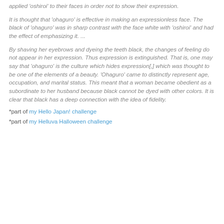applied 'oshiroi' to their faces in order not to show their expression.
It is thought that 'ohaguro' is effective in making an expressionless face. The black of 'ohaguro' was in sharp contrast with the face white with 'oshiroi' and had the effect of emphasizing it. ...
By shaving her eyebrows and dyeing the teeth black, the changes of feeling do not appear in her expression. Thus expression is extinguished. That is, one may say that 'ohaguro' is the culture which hides expression[,] which was thought to be one of the elements of a beauty. 'Ohaguro' came to distinctly represent age, occupation, and marital status. This meant that a woman became obedient as a subordinate to her husband because black cannot be dyed with other colors. It is clear that black has a deep connection with the idea of fidelity.
*part of my Hello Japan! challenge
*part of my Helluva Halloween challenge